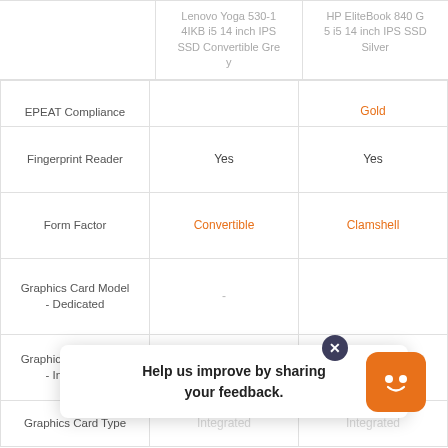|  | Lenovo Yoga 530-14IKB i5 14 inch IPS SSD Convertible Grey | HP EliteBook 840 G5 i5 14 inch IPS SSD Silver |
| --- | --- | --- |
| EPEAT Compliance |  | Gold |
| Fingerprint Reader | Yes | Yes |
| Form Factor | Convertible | Clamshell |
| Graphics Card Model - Dedicated | - |  |
| Graphics Card Model - Integrated | Intel UHD Graphics 620 | Intel UHD Graphics 620 |
| Graphics Card Type | Integrated | Integrated |
Help us improve by sharing your feedback.